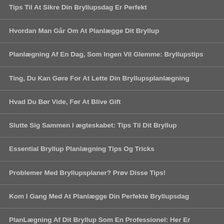Tips Til At Sikre Din Bryllupsdag Er Perfekt
Hvordan Man Går Om At Planlægge Dit Bryllup
Planlægning Af En Dag, Som Ingen Vil Glemme: Bryllupstips
Ting, Du Kan Gøre For At Lette Din Bryllupsplanlægning
Hvad Du Bør Vide, Før At Blive Gift
Slutte Sig Sammen I ægteskabet: Tips Til Dit Bryllup
Essential Bryllup Planlægning Tips Og Tricks
Problemer Med Bryllupsplaner? Prøv Disse Tips!
Kom I Gang Med At Planlægge Din Perfekte Bryllupsdag
PlanLægning Af Dit Bryllup Som En Professionel: Her Er Hvordan